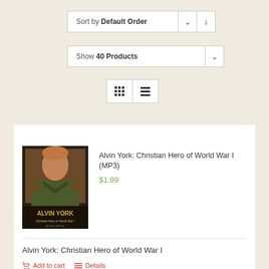Sort by Default Order
Show 40 Products
[Figure (screenshot): Alvin York: Christian Hero of World War I book cover - shows a soldier in military uniform with text 'Alvin York Christian Hero of World War I']
Alvin York: Christian Hero of World War I (MP3)
$1.99
Alvin York: Christian Hero of World War I
Add to cart
Details